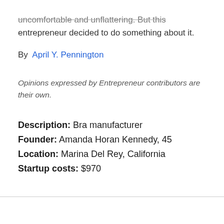uncomfortable and unflattering. But this entrepreneur decided to do something about it.
By April Y. Pennington
Opinions expressed by Entrepreneur contributors are their own.
Description: Bra manufacturer
Founder: Amanda Horan Kennedy, 45
Location: Marina Del Rey, California
Startup costs: $970